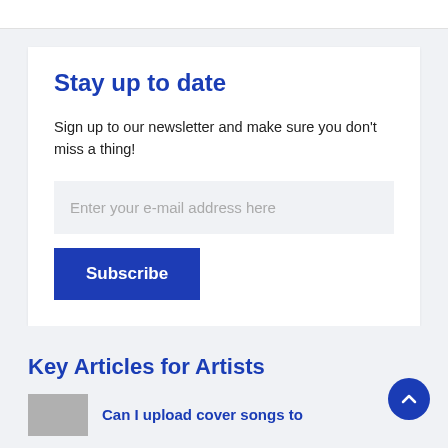Stay up to date
Sign up to our newsletter and make sure you don't miss a thing!
Enter your e-mail address here
Subscribe
Key Articles for Artists
Can I upload cover songs to